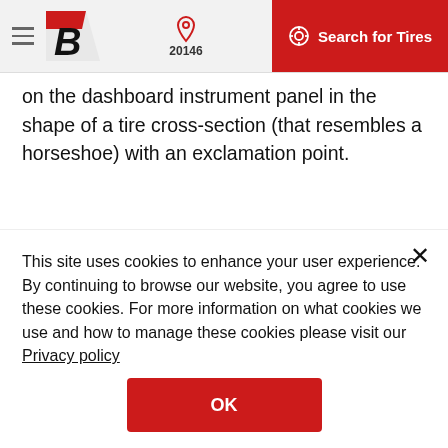Bridgestone — 20146 — Search for Tires
on the dashboard instrument panel in the shape of a tire cross-section (that resembles a horseshoe) with an exclamation point.
[Figure (other): TPMS Symbol Image placeholder with broken image icon]
That indicator light is a symbol that alerts you wit...
This site uses cookies to enhance your user experience. By continuing to browse our website, you agree to use these cookies. For more information on what cookies we use and how to manage these cookies please visit our Privacy policy